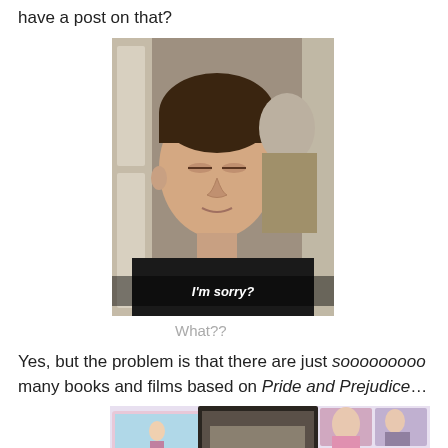have a post on that?
[Figure (photo): Movie still of a man with his eyes closed, subtitle text reads 'I'm sorry?']
What??
Yes, but the problem is that there are just sooooooooo many books and films based on Pride and Prejudice…
[Figure (infographic): Collage of Pride and Prejudice book covers and film images with text 'It Says Jane Austen I MUST']